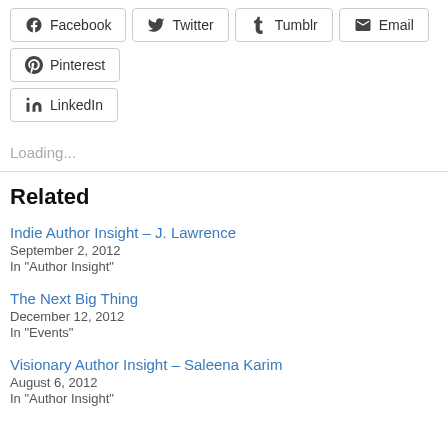Facebook
Twitter
Tumblr
Email
Pinterest
LinkedIn
Loading...
Related
Indie Author Insight – J. Lawrence
September 2, 2012
In "Author Insight"
The Next Big Thing
December 12, 2012
In "Events"
Visionary Author Insight – Saleena Karim
August 6, 2012
In "Author Insight"